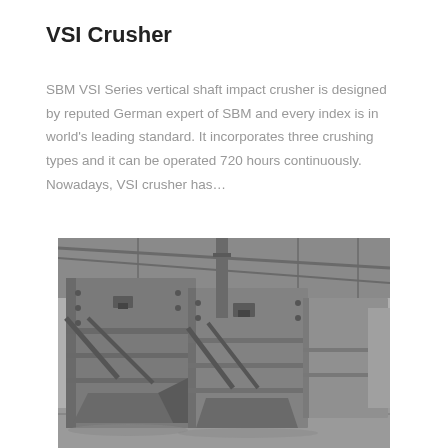VSI Crusher
SBM VSI Series vertical shaft impact crusher is designed by reputed German expert of SBM and every index is in world’s leading standard. It incorporates three crushing types and it can be operated 720 hours continuously. Nowadays, VSI crusher has…
[Figure (photo): Photograph of VSI crusher machines in a factory/warehouse setting, showing large industrial metal crushing equipment with bolted frames, chutes, and structural supports in a grey metallic finish.]